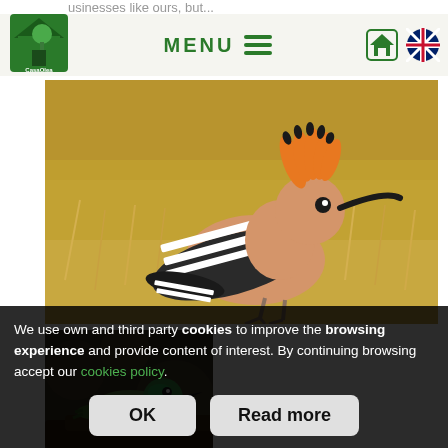usinesses like ours, but...
[Figure (photo): Navigation bar with CasaOlea logo (green house with tree), MENU text with hamburger icon in green, home icon and UK flag icon on right]
[Figure (photo): Close-up photograph of a hoopoe bird with distinctive orange crest fanned out, standing on dry golden grass. The bird has black and white striped wings and a long curved beak.]
[Figure (photo): Photograph of a small bird (kingfisher or bee-eater) with iridescent green head, perched on a branch, partially visible.]
We use own and third party cookies to improve the browsing experience and provide content of interest. By continuing browsing accept our cookies policy.
OK
Read more